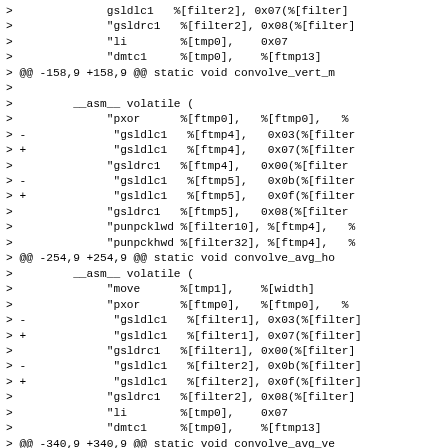Code diff showing assembly instructions for convolve_vert and convolve_avg functions, including gsldrc1, gsldlc1, li, dmtc1, pxor, punpcklwd, punpckhwd instructions with filter and tmp register operands.